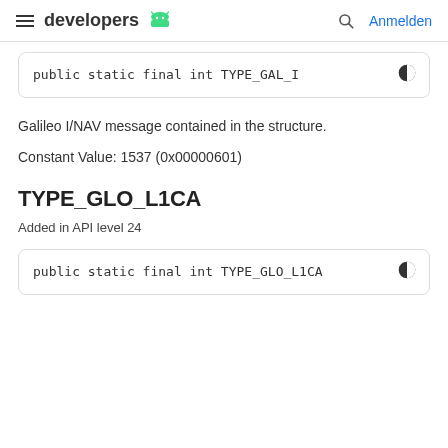developers | Anmelden
public static final int TYPE_GAL_I
Galileo I/NAV message contained in the structure.
Constant Value: 1537 (0x00000601)
TYPE_GLO_L1CA
Added in API level 24
public static final int TYPE_GLO_L1CA